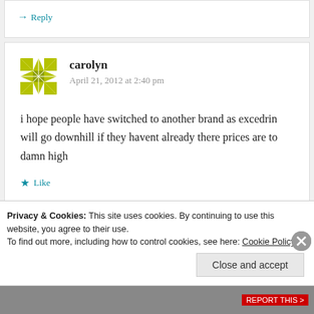Reply
carolyn
April 21, 2012 at 2:40 pm
i hope people have switched to another brand as excedrin will go downhill if they havent already there prices are to damn high
Like
Privacy & Cookies: This site uses cookies. By continuing to use this website, you agree to their use. To find out more, including how to control cookies, see here: Cookie Policy
Close and accept